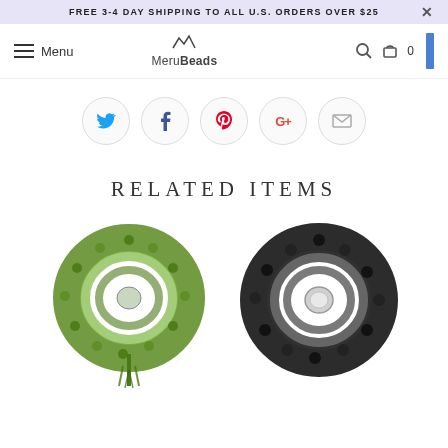FREE 3-4 DAY SHIPPING TO ALL U.S. ORDERS OVER $25
Menu | MeruBeads | 0
[Figure (screenshot): Social sharing icons row: Twitter (blue bird), Facebook (f), Pinterest (P), Google+ (G+), Email (envelope)]
RELATED ITEMS
[Figure (photo): Green jade mala bead necklace coiled in circular shape with green tassel]
[Figure (photo): Black lava stone mala bead necklace coiled in circular shape with silver guru bead]